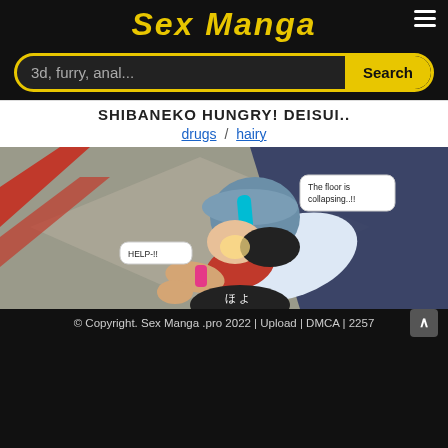Sex Manga
3d, furry, anal...
SHIBANEKO HUNGRY! DEISUI..
drugs / hairy
[Figure (illustration): 3D animated manga-style illustration showing a character with a cap bent over, with speech bubbles reading 'The floor is collapsing..!!' and 'HELP-!!']
© Copyright. Sex Manga .pro 2022 | Upload | DMCA | 2257